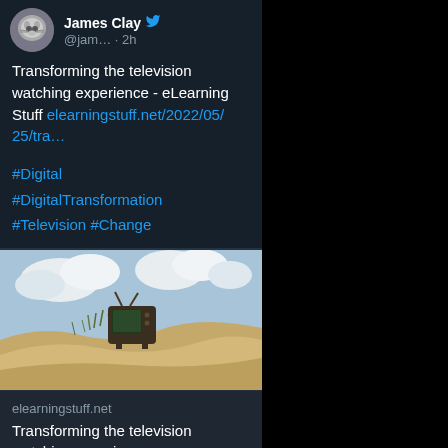[Figure (screenshot): Twitter/social media post screenshot showing user James Clay (@jam...) posted 2h ago with tweet text and image]
James Clay @jam… · 2h
Transforming the television watching experience - eLearning Stuff elearningstuff.net/2022/05/25/tra…
#Digital #DigitalTransformation #Television #Change
[Figure (photo): Old vintage television set sitting on sandy dunes with blue cloudy sky background]
elearningstuff.net
Transforming the television watching experience - …